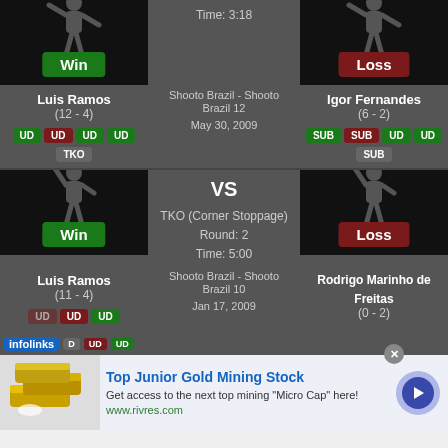[Figure (infographic): MMA fight result: Luis Ramos (12-4) Win vs Igor Fernandes (6-2) Loss. Shooto Brazil - Shooto Brazil 12. May 30, 2009. Time: 3:18. Method badges: UD, UD(red), UD, UD for Luis; SUB, SUB(red), UD, UD for Igor; TKO for Luis row2; SUB for Igor row2.]
[Figure (infographic): MMA fight result: Luis Ramos (11-4) Win vs Rodrigo Marinho de Freitas (0-2) Loss. Shooto Brazil - Shooto Brazil 10. Jan 17, 2009. Method: TKO (Corner Stoppage). Round: 2. Time: 5:00.]
[Figure (infographic): Advertisement banner: Top Junior Gold Mining Stock. Get access to the next top mining Micro Cap here! www.rivres.com]